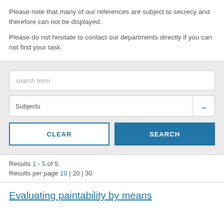Please note that many of our references are subject to secrecy and therefore can not be displayed.
Please do not hesitate to contact our departments directly if you can not find your task.
search term
Subjects
CLEAR
SEARCH
Results 1 - 5 of 5
Results per page 10 | 20 | 30
Evaluating paintability by means